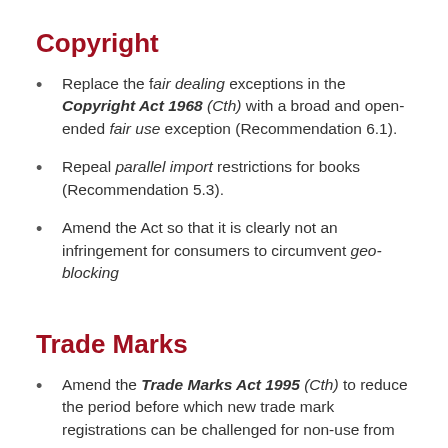Copyright
Replace the fair dealing exceptions in the Copyright Act 1968 (Cth) with a broad and open-ended fair use exception (Recommendation 6.1).
Repeal parallel import restrictions for books (Recommendation 5.3).
Amend the Act so that it is clearly not an infringement for consumers to circumvent geo-blocking
Trade Marks
Amend the Trade Marks Act 1995 (Cth) to reduce the period before which new trade mark registrations can be challenged for non-use from